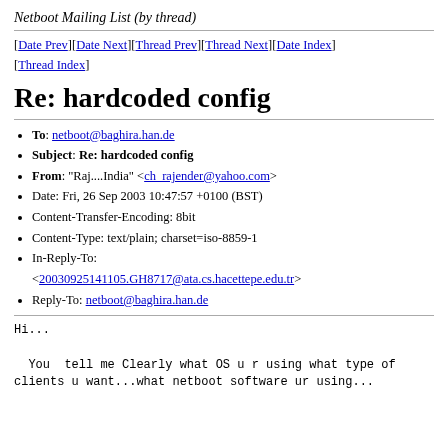Netboot Mailing List (by thread)
[Date Prev][Date Next][Thread Prev][Thread Next][Date Index][Thread Index]
Re: hardcoded config
To: netboot@baghira.han.de
Subject: Re: hardcoded config
From: "Raj....India" <ch_rajender@yahoo.com>
Date: Fri, 26 Sep 2003 10:47:57 +0100 (BST)
Content-Transfer-Encoding: 8bit
Content-Type: text/plain; charset=iso-8859-1
In-Reply-To: <20030925141105.GH8717@ata.cs.hacettepe.edu.tr>
Reply-To: netboot@baghira.han.de
Hi...

  You  tell me Clearly what OS u r using what type of
clients u want...what netboot software ur using...